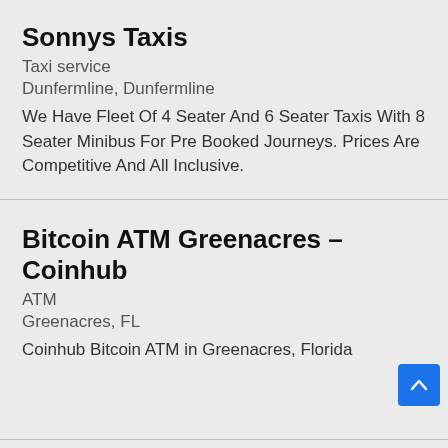Sonnys Taxis
Taxi service
Dunfermline, Dunfermline
We Have Fleet Of 4 Seater And 6 Seater Taxis With 8 Seater Minibus For Pre Booked Journeys. Prices Are Competitive And All Inclusive.
Bitcoin ATM Greenacres – Coinhub
ATM
Greenacres, FL
Coinhub Bitcoin ATM in Greenacres, Florida